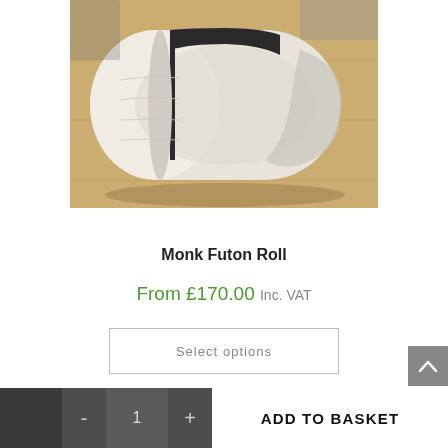[Figure (photo): A rolled futon/mattress with a dark strap around it, placed on what appears to be a light wooden surface. The futon is white/cream colored and rolled tightly.]
Monk Futon Roll
From £170.00 Inc. VAT
Select options
- 1 + ADD TO BASKET